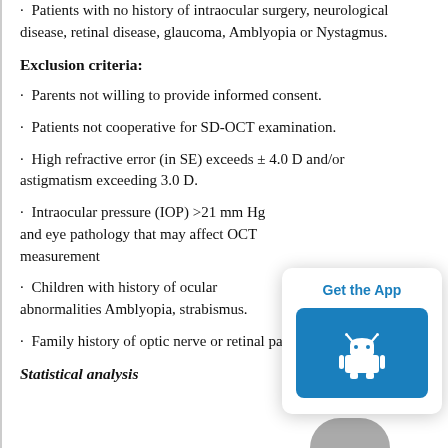· Patients with no history of intraocular surgery, neurological disease, retinal disease, glaucoma, Amblyopia or Nystagmus.
Exclusion criteria:
· Parents not willing to provide informed consent.
· Patients not cooperative for SD-OCT examination.
· High refractive error (in SE) exceeds ± 4.0 D and/or astigmatism exceeding 3.0 D.
· Intraocular pressure (IOP) >21 mm Hg and eye pathology that may affect OCT measurement
· Children with history of ocular abnormalities Amblyopia, strabismus.
· Family history of optic nerve or retinal pathologies.
Statistical analysis